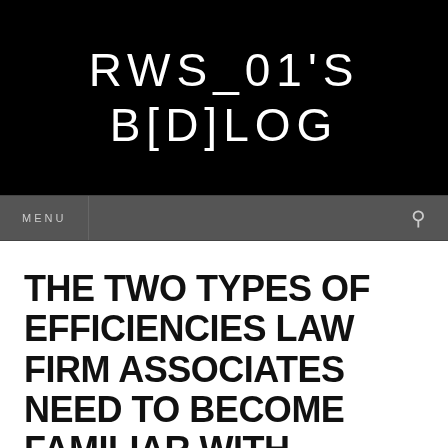RWS_01'S B[D]LOG
MENU
THE TWO TYPES OF EFFICIENCIES LAW FIRM ASSOCIATES NEED TO BECOME FAMILIAR WITH...